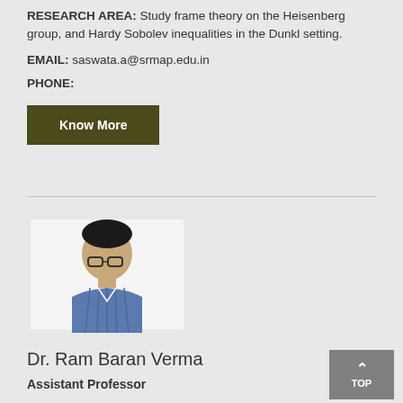RESEARCH AREA: Study frame theory on the Heisenberg group, and Hardy Sobolev inequalities in the Dunkl setting.
EMAIL: saswata.a@srmap.edu.in
PHONE:
Know More
[Figure (photo): Headshot photo of a young man with glasses wearing a blue shirt]
Dr. Ram Baran Verma
Assistant Professor